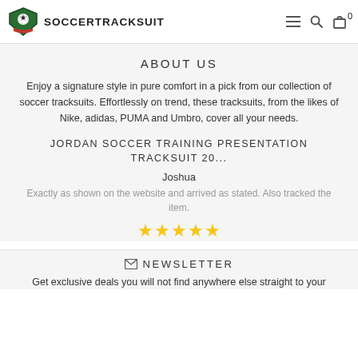SOCCERTRACKSUIT
ABOUT US
Enjoy a signature style in pure comfort in a pick from our collection of soccer tracksuits. Effortlessly on trend, these tracksuits, from the likes of Nike, adidas, PUMA and Umbro, cover all your needs.
JORDAN SOCCER TRAINING PRESENTATION TRACKSUIT 20...
Joshua
Exactly as shown on the website and arrived as stated. Also tracked the item.
[Figure (other): Five gold star rating]
NEWSLETTER
Get exclusive deals you will not find anywhere else straight to your